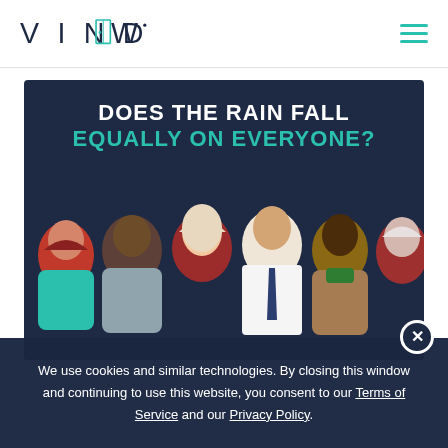[Figure (logo): VINDOW logo with teal door icon in the O, white background header]
[Figure (illustration): Dark navy banner showing diverse group of illustrated people (cartoon style) with text 'DOES THE RAIN FALL EQUALLY ON EVERYONE?' in white and teal]
We use cookies and similar technologies. By closing this window and continuing to use this website, you consent to our Terms of Service and our Privacy Policy.